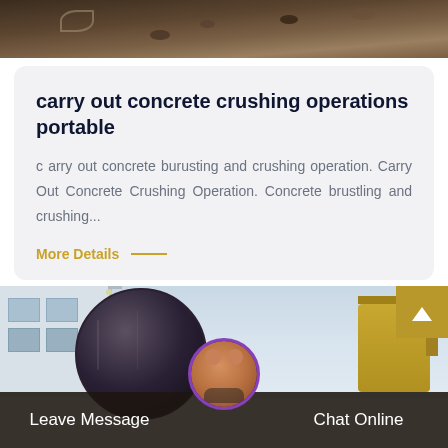[Figure (photo): Top strip showing dirt/ground surface texture, dark brown earthy tones]
carry out concrete crushing operations portable
c arry out concrete burusting and crushing operation. Carry Out Concrete Crushing Operation. Concrete brustling and crushing...
More Details —
[Figure (photo): Industrial building with windows, large dark drum/cylinder, crane machinery in background; chat agent avatar circle; scroll-up yellow button; Leave Message and Chat Online bar at bottom]